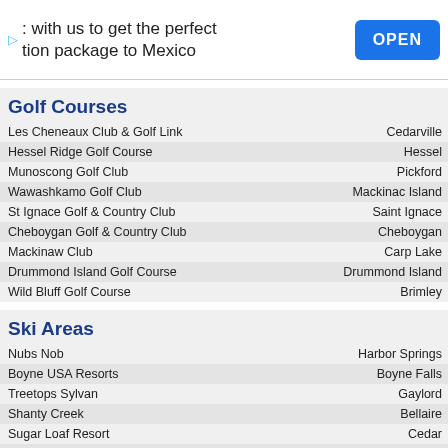[Figure (screenshot): Advertisement banner: text 'with us to get the perfect tion package to Mexico' with a blue OPEN button on the right and a play icon on the left]
Golf Courses
| Name | Location |
| --- | --- |
| Les Cheneaux Club & Golf Link | Cedarville |
| Hessel Ridge Golf Course | Hessel |
| Munoscong Golf Club | Pickford |
| Wawashkamo Golf Club | Mackinac Island |
| St Ignace Golf & Country Club | Saint Ignace |
| Cheboygan Golf & Country Club | Cheboygan |
| Mackinaw Club | Carp Lake |
| Drummond Island Golf Course | Drummond Island |
| Wild Bluff Golf Course | Brimley |
Ski Areas
| Name | Location |
| --- | --- |
| Nubs Nob | Harbor Springs |
| Boyne USA Resorts | Boyne Falls |
| Treetops Sylvan | Gaylord |
| Shanty Creek | Bellaire |
| Sugar Loaf Resort | Cedar |
| The Homestead Resort | Glen Arbor |
State Parks
| Name |
| --- |
| Mackinac Island State Park |
| De Tour State Park |
| Straits State Park |